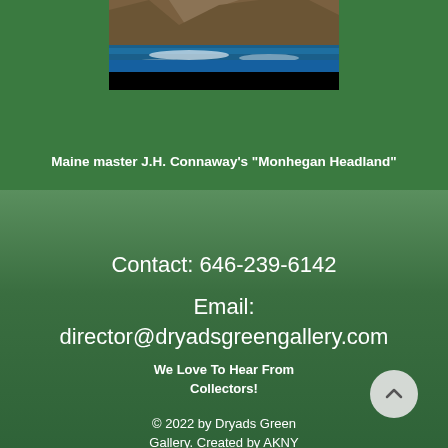[Figure (illustration): Painting of rocky coastal headland with deep blue ocean water and cliffs, by J.H. Connaway]
Maine master J.H. Connaway's "Monhegan Headland"
Contact: 646-239-6142
Email: director@dryadsgreengallery.com
We Love To Hear From Collectors!
© 2022 by Dryads Green Gallery. Created by AKNY Wix